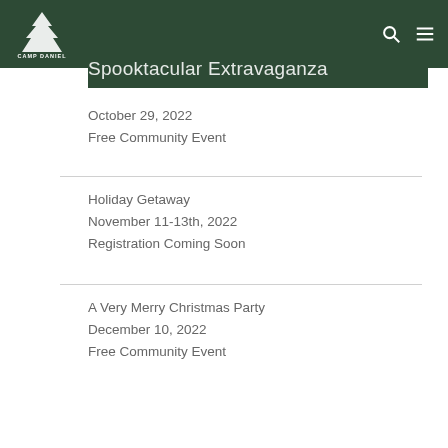Camp Daniel — navigation header with logo, search and menu icons
Spooktacular Extravaganza
October 29, 2022
Free Community Event
Holiday Getaway
November 11-13th, 2022
Registration Coming Soon
A Very Merry Christmas Party
December 10, 2022
Free Community Event